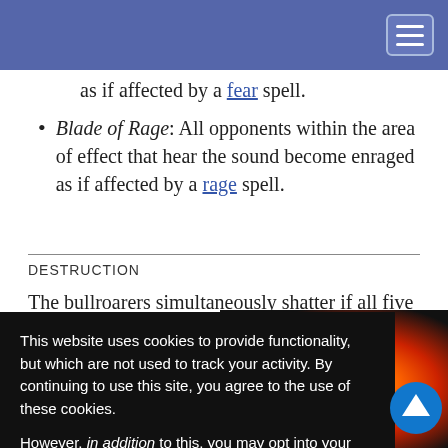Navigation bar with hamburger menu
as if affected by a fear spell.
Blade of Rage: All opponents within the area of effect that hear the sound become enraged as if affected by a rage spell.
DESTRUCTION
The bullroarers simultaneously shatter if all five are swung at the same time while their bearer stands
This website uses cookies to provide functionality, but which are not used to track your activity. By continuing to use this site, you agree to the use of these cookies.

However, in addition to this, you may opt into your activity being tracked in order to help us improve our service.

For more information, please click here
[Figure (illustration): Ad banner for free PF/D&D battle maps from The Mad Cartographer, showing a colorful swirling map image]
[Figure (other): Blue circular scroll-to-top button with upward arrow]